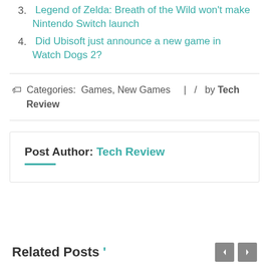3. Legend of Zelda: Breath of the Wild won't make Nintendo Switch launch
4. Did Ubisoft just announce a new game in Watch Dogs 2?
Categories: Games, New Games | / by Tech Review
Post Author: Tech Review
Related Posts '